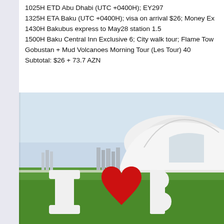1025H ETD Abu Dhabi (UTC +0400H); EY297
1325H ETA Baku (UTC +0400H); visa on arrival $26; Money Ex
1430H Bakubus express to May28 station 1.5
1500H Baku Central Inn Exclusive 6; City walk tour; Flame Tow
Gobustan + Mud Volcanoes Morning Tour (Les Tour) 40
Subtotal: $26 + 73.7 AZN
[Figure (photo): Photo of the Heydar Aliyev Center in Baku, Azerbaijan. In the foreground is green grass and large white block letters spelling 'I [heart] Ba...' where the heart is red. The iconic white wavy building is visible in the background under a pale sky.]